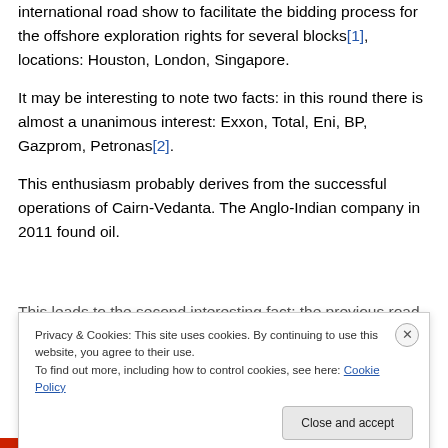international road show to facilitate the bidding process for the offshore exploration rights for several blocks[1], locations: Houston, London, Singapore.
It may be interesting to note two facts: in this round there is almost a unanimous interest: Exxon, Total, Eni, BP, Gazprom, Petronas[2].
This enthusiasm probably derives from the successful operations of Cairn-Vedanta. The Anglo-Indian company in 2011 found oil.
This leads to the second interesting fact: the previous road
Privacy & Cookies: This site uses cookies. By continuing to use this website, you agree to their use.
To find out more, including how to control cookies, see here: Cookie Policy